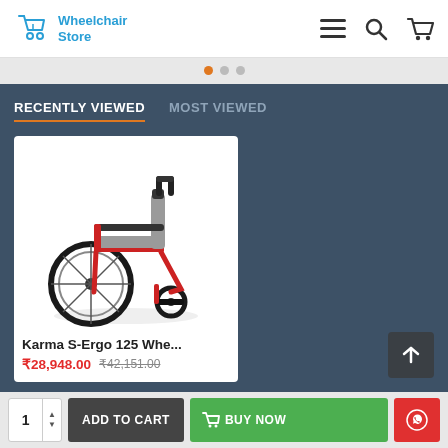Wheelchair Store
RECENTLY VIEWED | MOST VIEWED
[Figure (photo): Karma S-Ergo 125 Wheelchair product photo — a red-framed manual wheelchair with gray upholstery, armrests, footrests, and large rear wheels]
Karma S-Ergo 125 Whe...
₹28,948.00  ₹42,151.00